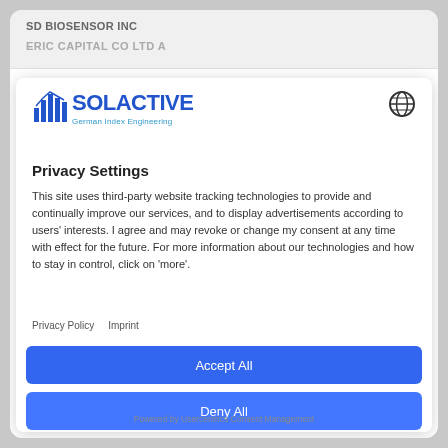SD BIOSENSOR INC | ERIC CAPITAL CO LTD A
[Figure (logo): Solactive logo with bar chart icon and tagline 'German Index Engineering']
Privacy Settings
This site uses third-party website tracking technologies to provide and continually improve our services, and to display advertisements according to users' interests. I agree and may revoke or change my consent at any time with effect for the future. For more information about our technologies and how to stay in control, click on 'more'.
Privacy Policy   Imprint
Accept All
Deny All
More
Powered by Usercentrics Consent Management